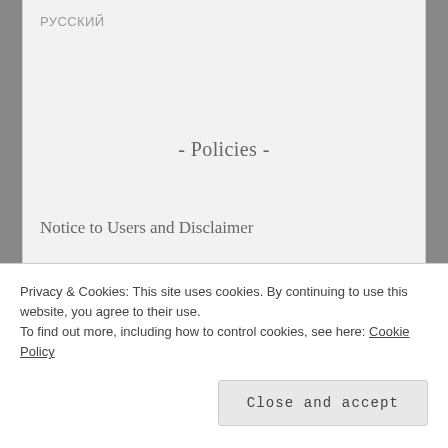РУССКИЙ
- Policies -
Notice to Users and Disclaimer
Privacy Policy
[Figure (other): Blue WordPress Follow button: Follow Yulia Nutrition]
Privacy & Cookies: This site uses cookies. By continuing to use this website, you agree to their use. To find out more, including how to control cookies, see here: Cookie Policy
Close and accept